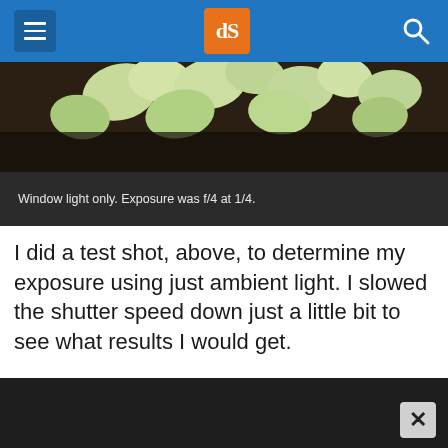[Figure (screenshot): Website navigation bar with hamburger menu icon (dark blue square), orange dPS logo in center, and search icon on the right, on a blue background]
[Figure (photo): Close-up photo of white/green flower buds against a dark background, partially visible at top of content area]
Window light only. Exposure was f/4 at 1/4.
I did a test shot, above, to determine my exposure using just ambient light. I slowed the shutter speed down just a little bit to see what results I would get.
[Figure (photo): Dark/black photograph, partially visible at bottom of page, with a close (X) button overlay in the lower right corner]